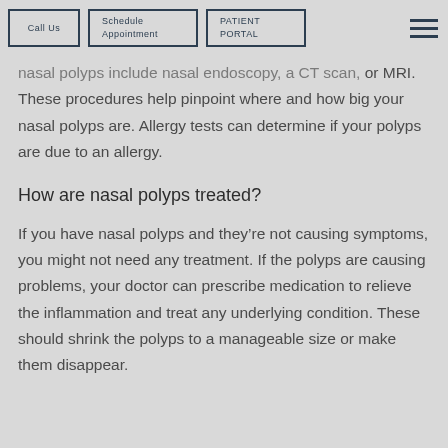Call Us | Schedule Appointment | PATIENT PORTAL
nasal polyps include nasal endoscopy, a CT scan, or MRI. These procedures help pinpoint where and how big your nasal polyps are. Allergy tests can determine if your polyps are due to an allergy.
How are nasal polyps treated?
If you have nasal polyps and they’re not causing symptoms, you might not need any treatment. If the polyps are causing problems, your doctor can prescribe medication to relieve the inflammation and treat any underlying condition. These should shrink the polyps to a manageable size or make them disappear.